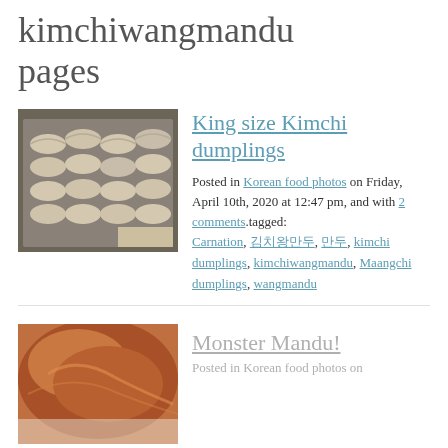kimchiwangmandu pages
[Figure (photo): Tray of raw kimchi dumplings (mandu) arranged in rows on a dark baking sheet, dusted with flour]
King size Kimchi dumplings
Posted in Korean food photos on Friday, April 10th, 2020 at 12:47 pm, and with 2 comments.tagged: Carnation, 김치왕만두, 만두, kimchi dumplings, kimchiwangmandu, Maangchi dumplings, wangmandu
[Figure (photo): Close-up of a cooked mandu (dumpling) with golden-brown filling visible]
Monster Mandu!
Posted in Korean food photos on